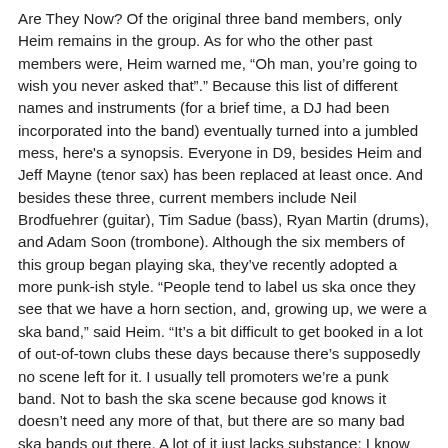Are They Now? Of the original three band members, only Heim remains in the group. As for who the other past members were, Heim warned me, “Oh man, you’re going to wish you never asked that”.” Because this list of different names and instruments (for a brief time, a DJ had been incorporated into the band) eventually turned into a jumbled mess, here's a synopsis. Everyone in D9, besides Heim and Jeff Mayne (tenor sax) has been replaced at least once. And besides these three, current members include Neil Brodfuehrer (guitar), Tim Sadue (bass), Ryan Martin (drums), and Adam Soon (trombone). Although the six members of this group began playing ska, they’ve recently adopted a more punk-ish style. “People tend to label us ska once they see that we have a horn section, and, growing up, we were a ska band,” said Heim. “It’s a bit difficult to get booked in a lot of out-of-town clubs these days because there’s supposedly no scene left for it. I usually tell promoters we’re a punk band. Not to bash the ska scene because god knows it doesn’t need any more of that, but there are so many bad ska bands out there. A lot of it just lacks substance; I know because we used to be that.” With four independent releases under their belt, most recently Shameface in 2002, these guys may as well have the word “determined” tattooed on each of their foreheads. So far, D9 has shared the stage with big-name bands, such as The Mighty Mighty Bosstones, The Planet Smashers, Run DMC, and The Ataris. The band has also